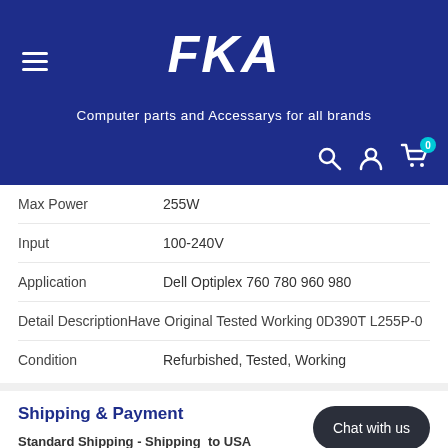FKA - Computer parts and Accessarys for all brands
| Attribute | Value |
| --- | --- |
| Max Power | 255W |
| Input | 100-240V |
| Application | Dell Optiplex 760 780 960 980 |
| Detail Description | Have Original Tested Working 0D390T L255P-0 |
| Condition | Refurbished, Tested, Working |
Shipping & Payment
Standard Shipping - Shipping  to USA